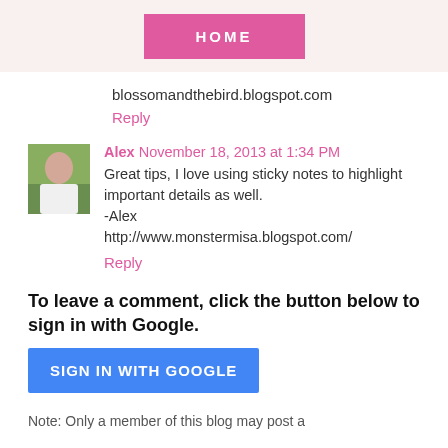HOME
blossomandthebird.blogspot.com
Reply
Alex November 18, 2013 at 1:34 PM
Great tips, I love using sticky notes to highlight important details as well.
-Alex
http://www.monstermisa.blogspot.com/
Reply
To leave a comment, click the button below to sign in with Google.
SIGN IN WITH GOOGLE
Note: Only a member of this blog may post a